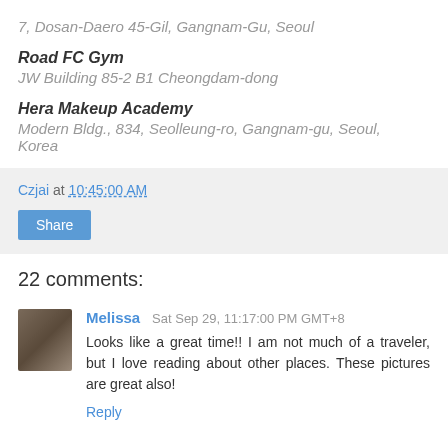7, Dosan-Daero 45-Gil, Gangnam-Gu, Seoul
Road FC Gym
JW Building 85-2 B1 Cheongdam-dong
Hera Makeup Academy
Modern Bldg., 834, Seolleung-ro, Gangnam-gu, Seoul, Korea
Czjai at 10:45:00 AM
Share
22 comments:
Melissa  Sat Sep 29, 11:17:00 PM GMT+8
Looks like a great time!! I am not much of a traveler, but I love reading about other places. These pictures are great also!
Reply